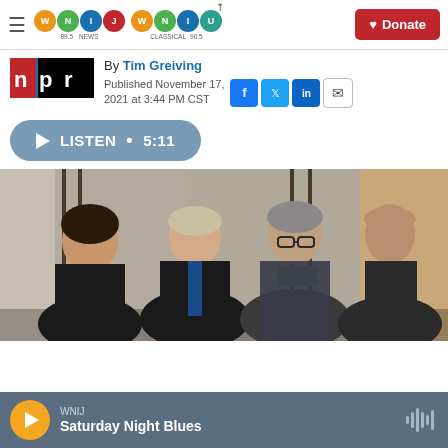WNIJ 89.5 NEWS | WNIU CLASSICAL 90.5 | Donate
By Tim Greiving
Published November 17, 2021 at 3:44 PM CST
LISTEN • 5:11
[Figure (photo): Four musicians standing in front of a stone wall with iron railings: a woman on the left in a black jacket with green scarf, two men in black leather jackets in the center, and a bald man on the right in a dark turtleneck.]
WNIJ
Saturday Night Blues